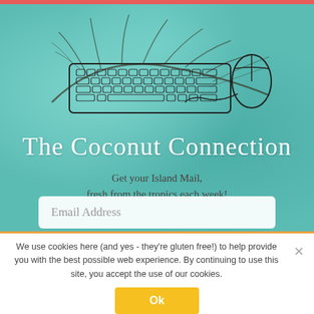[Figure (illustration): Hand-drawn sketch of a computer keyboard and mouse on a tropical leaf/palm frond background on a teal watercolor surface]
The Coconut Connection
Get your Island Mail,
fresh from the tropics each week!
Email Address
We use cookies here (and yes - they're gluten free!) to help provide you with the best possible web experience. By continuing to use this site, you accept the use of our cookies.
Ok